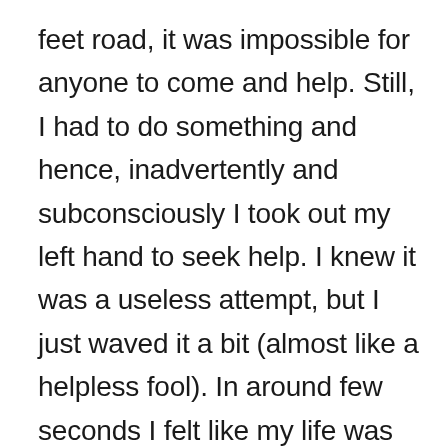feet road, it was impossible for anyone to come and help. Still, I had to do something and hence, inadvertently and subconsciously I took out my left hand to seek help. I knew it was a useless attempt, but I just waved it a bit (almost like a helpless fool). In around few seconds I felt like my life was over. Nobody could help me move, and I had no courage to take step ahead. It must be like atleast 10-15 steps before I could